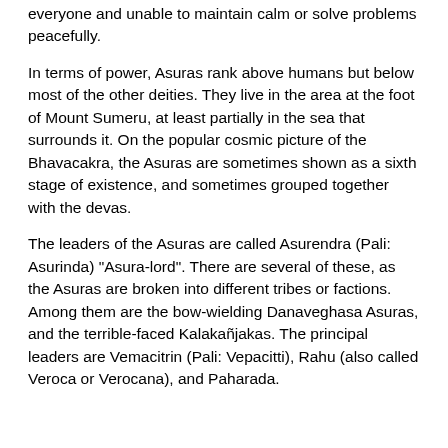everyone and unable to maintain calm or solve problems peacefully.
In terms of power, Asuras rank above humans but below most of the other deities. They live in the area at the foot of Mount Sumeru, at least partially in the sea that surrounds it. On the popular cosmic picture of the Bhavacakra, the Asuras are sometimes shown as a sixth stage of existence, and sometimes grouped together with the devas.
The leaders of the Asuras are called Asurendra (Pali: Asurinda) "Asura-lord". There are several of these, as the Asuras are broken into different tribes or factions. Among them are the bow-wielding Danaveghasa Asuras, and the terrible-faced Kalakañjakas. The principal leaders are Vemacitrin (Pali: Vepacitti), Rahu (also called Veroca or Verocana), and Paharada.